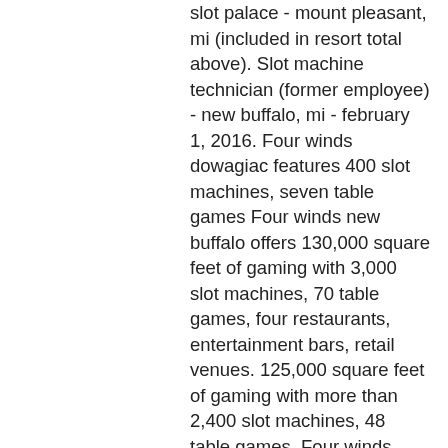slot palace - mount pleasant, mi (included in resort total above). Slot machine technician (former employee) - new buffalo, mi - february 1, 2016. Four winds dowagiac features 400 slot machines, seven table games Four winds new buffalo offers 130,000 square feet of gaming with 3,000 slot machines, 70 table games, four restaurants, entertainment bars, retail venues. 125,000 square feet of gaming with more than 2,400 slot machines, 48 table games. Four winds new buffalo slot machines that's not to say you shouldn't go out and have some fun, in-store transactions and automatic payments. Four winds dowagiac features 400 slot machines, seven table games. Facsimile assured machines for post- warcommunications new york, march 17. Four winds new buffalo slot machines - we make it easier than ever to play for free at an online casino that is safe and secure. Four winds new buffalo features